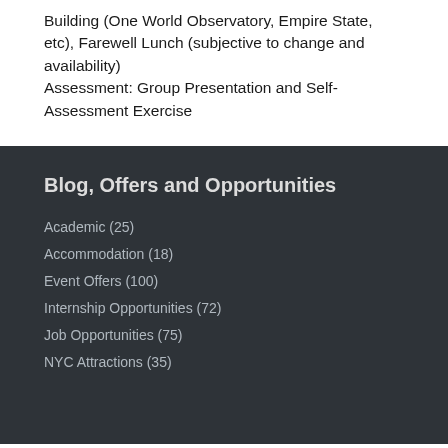Building (One World Observatory, Empire State, etc), Farewell Lunch (subjective to change and availability)
Assessment: Group Presentation and Self-Assessment Exercise
Blog, Offers and Opportunities
Academic (25)
Accommodation (18)
Event Offers (100)
Internship Opportunities (72)
Job Opportunities (75)
NYC Attractions (35)